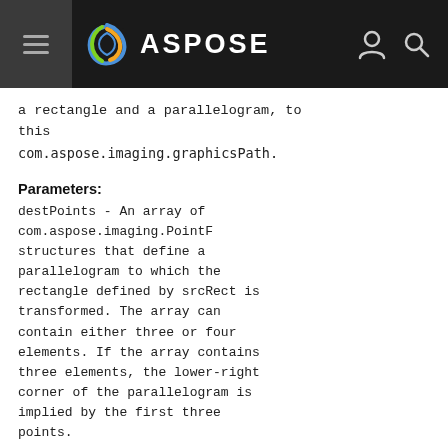ASPOSE
a rectangle and a parallelogram, to this com.aspose.imaging.graphicsPath.
Parameters:
destPoints - An array of com.aspose.imaging.PointF structures that define a parallelogram to which the rectangle defined by srcRect is transformed. The array can contain either three or four elements. If the array contains three elements, the lower-right corner of the parallelogram is implied by the first three points.
srcRect - A com.aspose.imaging.RectangleF that represents the rectangle